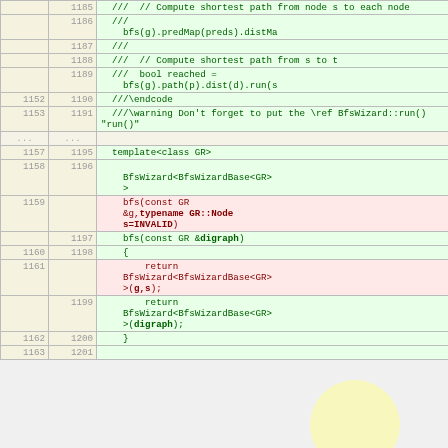| old | new | code |
| --- | --- | --- |
|  | 1185 | ///  // Compute shortest path from node s to each node |
|  | 1186 | ///
    bfs(g).predMap(preds).distMa |
|  | 1187 | /// |
|  | 1188 | ///  // Compute shortest path from s to t |
|  | 1189 | ///  bool reached =
    bfs(g).path(p).dist(d).run(s |
| 1152 | 1190 | ///\endcode |
| 1153 | 1191 | ///\warning Don't forget to put the \ref BfsWizard::run() "run()" |
| ... | ... |  |
| 1157 | 1195 | template<class GR> |
| 1158 | 1196 | 
BfsWizard<BfsWizardBase<GR>
> |
| 1159 |  |     bfs(const GR
    &g,typename GR::Node
    s=INVALID) |
|  | 1197 |     bfs(const GR &digraph) |
| 1160 | 1198 |     { |
| 1161 |  |         return
    BfsWizard<BfsWizardBase<GR>
    >(g,s); |
|  | 1199 |         return
    BfsWizard<BfsWizardBase<GR>
    >(digraph); |
| 1162 | 1200 |     } |
| 1163 | 1201 |  |